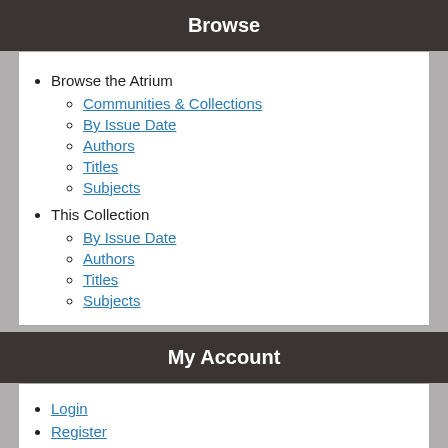Browse
Browse the Atrium
Communities & Collections
By Issue Date
Authors
Titles
Subjects
This Collection
By Issue Date
Authors
Titles
Subjects
My Account
Login
Register